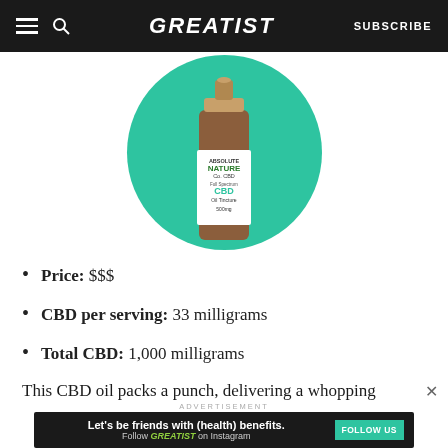GREATIST | SUBSCRIBE
[Figure (photo): Product photo of Absolute Nature Co. Full Spectrum CBD Oil Tincture 500mg bottle on a teal green circle background]
Price: $$$
CBD per serving: 33 milligrams
Total CBD: 1,000 milligrams
This CBD oil packs a punch, delivering a whopping
ADVERTISEMENT
[Figure (other): Advertisement banner: Let's be friends with (health) benefits. Follow GREATIST on Instagram. FOLLOW US button.]